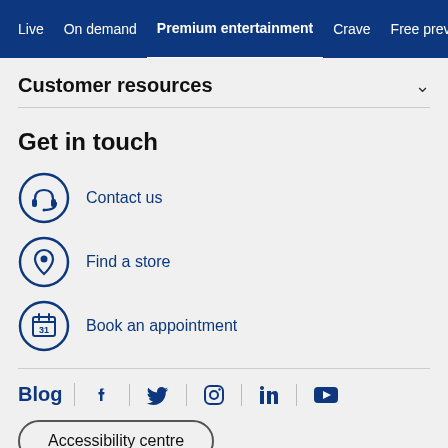Live | On demand | Premium entertainment | Crave | Free preview
Customer resources
Get in touch
Contact us
Find a store
Book an appointment
Blog | Facebook | Twitter | Instagram | LinkedIn | YouTube
Accessibility centre